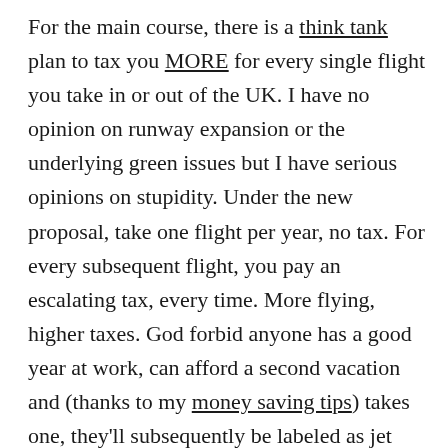For the main course, there is a think tank plan to tax you MORE for every single flight you take in or out of the UK. I have no opinion on runway expansion or the underlying green issues but I have serious opinions on stupidity. Under the new proposal, take one flight per year, no tax. For every subsequent flight, you pay an escalating tax, every time. More flying, higher taxes. God forbid anyone has a good year at work, can afford a second vacation and (thanks to my money saving tips) takes one, they'll subsequently be labeled as jet setting well heeled tax barons. The tax, proposed by a highly funded lobbying group in the United Kingdom, has anyone traveling more than once per year locked in their crosshairs, accusing leisure travel as the [X]prit